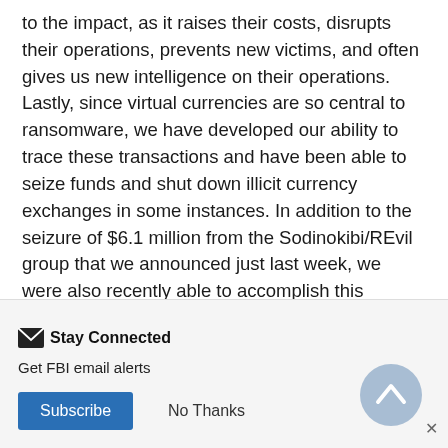to the impact, as it raises their costs, disrupts their operations, prevents new victims, and often gives us new intelligence on their operations. Lastly, since virtual currencies are so central to ransomware, we have developed our ability to trace these transactions and have been able to seize funds and shut down illicit currency exchanges in some instances. In addition to the seizure of $6.1 million from the Sodinokibi/REvil group that we announced just last week, we were also recently able to accomplish this objective in the Colonial Pipeline case, when the victim and our federal partners worked quickly and closely with us to
Stay Connected
Get FBI email alerts
Subscribe
No Thanks